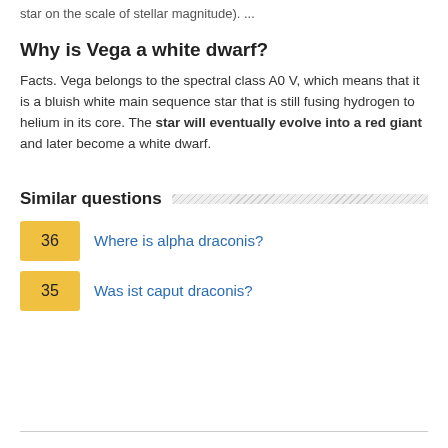star on the scale of stellar magnitude). ...
Why is Vega a white dwarf?
Facts. Vega belongs to the spectral class A0 V, which means that it is a bluish white main sequence star that is still fusing hydrogen to helium in its core. The star will eventually evolve into a red giant and later become a white dwarf.
Similar questions
36  Where is alpha draconis?
35  Was ist caput draconis?